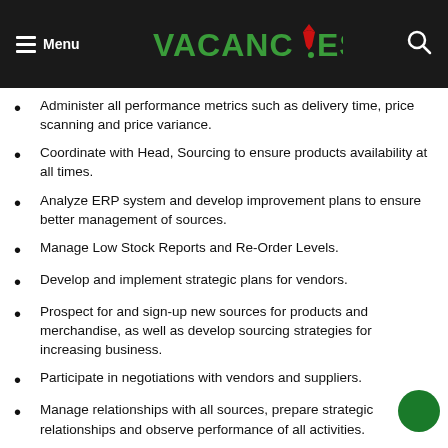Menu | VACANCIES.NG
Administer all performance metrics such as delivery time, price scanning and price variance.
Coordinate with Head, Sourcing to ensure products availability at all times.
Analyze ERP system and develop improvement plans to ensure better management of sources.
Manage Low Stock Reports and Re-Order Levels.
Develop and implement strategic plans for vendors.
Prospect for and sign-up new sources for products and merchandise, as well as develop sourcing strategies for increasing business.
Participate in negotiations with vendors and suppliers.
Manage relationships with all sources, prepare strategic relationships and observe performance of all activities.